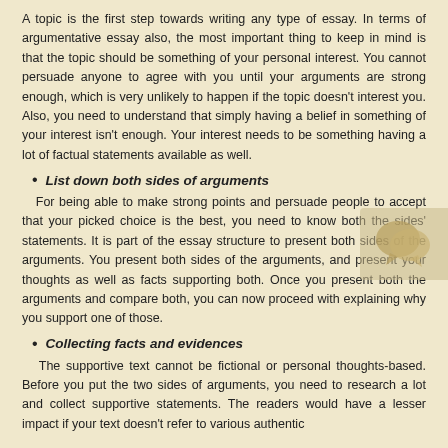A topic is the first step towards writing any type of essay. In terms of argumentative essay also, the most important thing to keep in mind is that the topic should be something of your personal interest. You cannot persuade anyone to agree with you until your arguments are strong enough, which is very unlikely to happen if the topic doesn't interest you. Also, you need to understand that simply having a belief in something of your interest isn't enough. Your interest needs to be something having a lot of factual statements available as well.
List down both sides of arguments
For being able to make strong points and persuade people to accept that your picked choice is the best, you need to know both the sides' statements. It is part of the essay structure to present both sides of the arguments. You present both sides of the arguments, and present your thoughts as well as facts supporting both. Once you present both the arguments and compare both, you can now proceed with explaining why you support one of those.
Collecting facts and evidences
The supportive text cannot be fictional or personal thoughts-based. Before you put the two sides of arguments, you need to research a lot and collect supportive statements. The readers would have a lesser impact if your text doesn't refer to various authentic